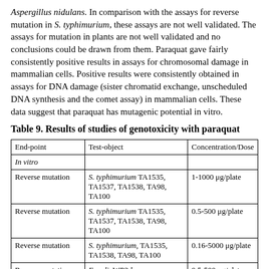Aspergillus nidulans. In comparison with the assays for reverse mutation in S. typhimurium, these assays are not well validated. The assays for mutation in plants are not well validated and no conclusions could be drawn from them. Paraquat gave fairly consistently positive results in assays for chromosomal damage in mammalian cells. Positive results were consistently obtained in assays for DNA damage (sister chromatid exchange, unscheduled DNA synthesis and the comet assay) in mammalian cells. These data suggest that paraquat has mutagenic potential in vitro.
Table 9. Results of studies of genotoxicity with paraquat
| End-point | Test-object | Concentration/Dose |
| --- | --- | --- |
| In vitro |  |  |
| Reverse mutation | S. typhimurium TA1535, TA1537, TA1538, TA98, TA100 | 1-1000 μg/plate |
| Reverse mutation | S. typhimurium TA1535, TA1537, TA1538, TA98, TA100 | 0.5-500 μg/plate |
| Reverse mutation | S. typhimurium, TA1535, TA1538, TA98, TA100 | 0.16-5000 μg/plate |
| Reverse mutation | E. coli, WP2 hcr | 0.5-500 μg/plate |